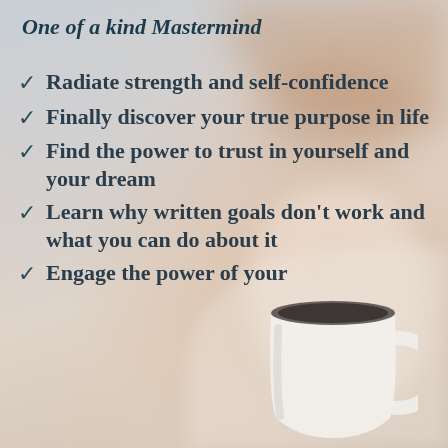One of a kind Mastermind
Radiate strength and self-confidence
Finally discover your true purpose in life
Find the power to trust in yourself and your dream
Learn why written goals don't work and what you can do about it
Engage the power of your